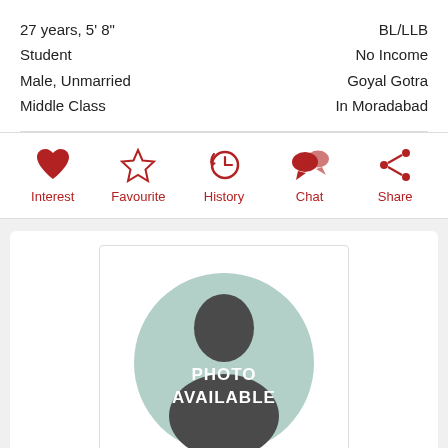27 years, 5' 8"
Student
Male, Unmarried
Middle Class
BL/LLB
No Income
Goyal Gotra
In Moradabad
[Figure (infographic): Five action icons in red: heart (Interest), star outline (Favourite), history/clock arrow (History), chat bubbles (Chat), share icon (Share)]
[Figure (photo): Placeholder profile image: a circular mint-green background with a dark grey silhouette of a person, overlaid with white text reading PHOTO AVAILABLE]